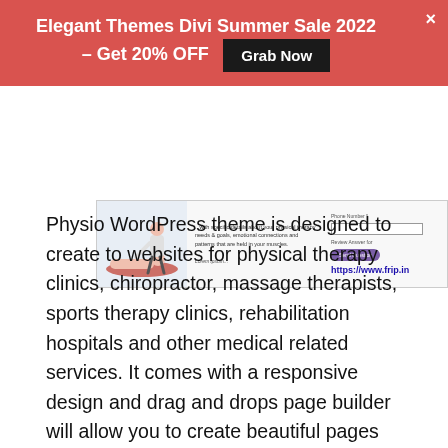Elegant Themes Divi Summer Sale 2022 – Get 20% OFF  Grab Now
[Figure (screenshot): Advertisement banner image for a physiotherapy website showing a therapist with a patient and a contact form with a purple 'Send Question' button and the URL https://www.frip.in]
Physio WordPress theme is designed to create to websites for physical therapy clinics, chiropractor, massage therapists, sports therapy clinics, rehabilitation hospitals and other medical related services. It comes with a responsive design and drag and drops page builder will allow you to create beautiful pages for your site without touching a line of code. With easy to use live theme customizer, you can quickly change the color of the theme and layout options with just a few clicks. It is fully compatible with the WooCommerce plugin, and you can create as many sidebars for your site you need. Some other features of this WordPress theme are as follows.